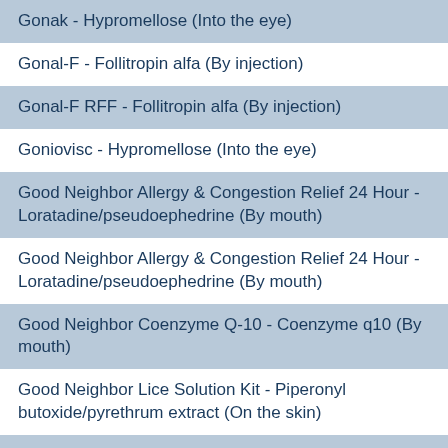Gonak - Hypromellose (Into the eye)
Gonal-F - Follitropin alfa (By injection)
Gonal-F RFF - Follitropin alfa (By injection)
Goniovisc - Hypromellose (Into the eye)
Good Neighbor Allergy & Congestion Relief 24 Hour - Loratadine/pseudoephedrine (By mouth)
Good Neighbor Allergy & Congestion Relief 24 Hour - Loratadine/pseudoephedrine (By mouth)
Good Neighbor Coenzyme Q-10 - Coenzyme q10 (By mouth)
Good Neighbor Lice Solution Kit - Piperonyl butoxide/pyrethrum extract (On the skin)
Good Neighbor Loratadine - Loratadine (By mouth)
Good Neighbor Medicated Wipes - Astringent (On t he skin)